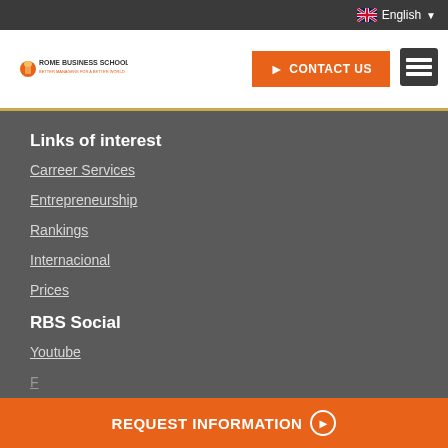English
[Figure (logo): Rome Business School logo]
CONTACT US
Links of interest
Carreer Services
Entrepreneurship
Rankings
Internacional
Prices
RBS Social
Youtube
REQUEST INFORMATION